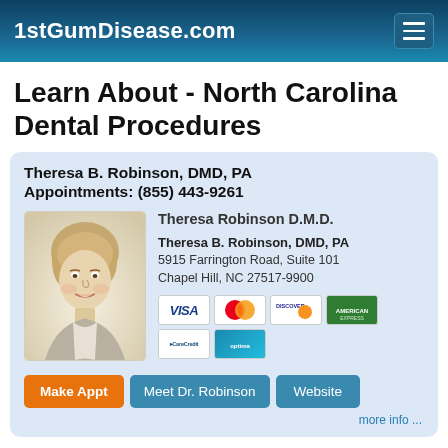1stGumDisease.com
Learn About - North Carolina Dental Procedures
Theresa B. Robinson, DMD, PA
Appointments: (855) 443-9261
[Figure (photo): Headshot photo of Theresa Robinson D.M.D., a woman with short blonde hair, smiling, in a professional black and white style photo]
Theresa Robinson D.M.D.
Theresa B. Robinson, DMD, PA
5915 Farrington Road, Suite 101
Chapel Hill, NC 27517-9900
[Figure (other): Payment method icons: VISA, MasterCard, Discover, American Express, CareCredit, Optima card]
Make Appt   Meet Dr. Robinson   Website
more info ...